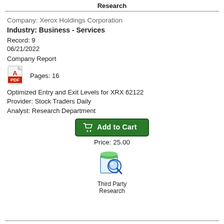Research
Company: Xerox Holdings Corporation
Industry: Business - Services
Record: 9
06/21/2022
Company Report
Pages: 16
Optimized Entry and Exit Levels for XRX 62122
Provider: Stock Traders Daily
Analyst: Research Department
[Figure (illustration): Add to Cart button (green)]
Price: 25.00
[Figure (logo): Third Party Research icon with magnifying glass over document]
Third Party Research